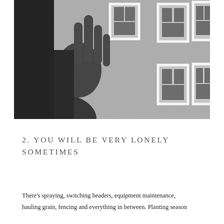[Figure (photo): Black and white photograph of a person's hand raised against a glass window or door, with a blurred building exterior showing multiple framed windows in the background.]
2. YOU WILL BE VERY LONELY SOMETIMES
There's spraying, switching headers, equipment maintenance, hauling grain, fencing and everything in between. Planting season